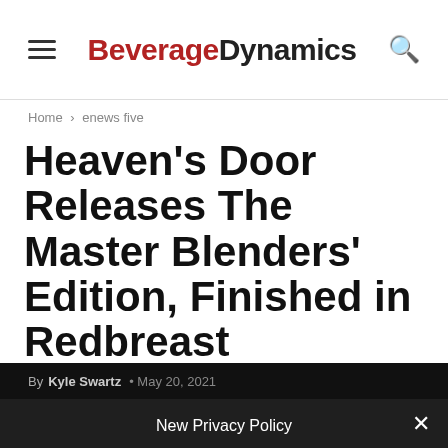BeverageDynamics
Home > enews five
Heaven’s Door Releases The Master Blenders’ Edition, Finished in Redbreast
By Kyle Swartz • May 20, 2021
New Privacy Policy
Privacy Preferences
I Agree